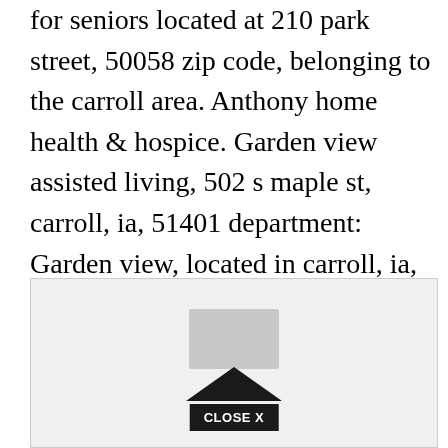for seniors located at 210 park street, 50058 zip code, belonging to the carroll area. Anthony home health & hospice. Garden view assisted living, 502 s maple st, carroll, ia, 51401 department: Garden view, located in carroll, ia, is a residential facility for older adults who require daily care assistance.
[Figure (other): Advertisement box with a gray rectangle element in the center and a 'CLOSE X' button at the bottom with a dark triangular/arrow shape above it.]